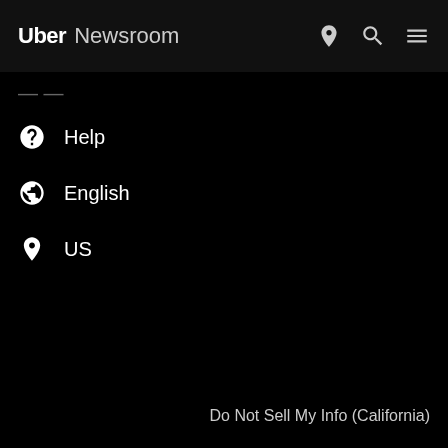Uber Newsroom
— (partial/cropped item)
Help
English
US
Do Not Sell My Info (California)
Company
Investors
Global citizenship